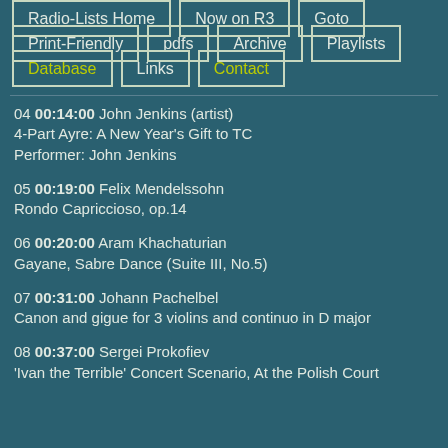Radio-Lists Home
Now on R3
Goto
Print-Friendly
pdfs
Archive
Playlists
Database
Links
Contact
04 00:14:00 John Jenkins (artist)
4-Part Ayre: A New Year's Gift to TC
Performer: John Jenkins
05 00:19:00 Felix Mendelssohn
Rondo Capriccioso, op.14
06 00:20:00 Aram Khachaturian
Gayane, Sabre Dance (Suite III, No.5)
07 00:31:00 Johann Pachelbel
Canon and gigue for 3 violins and continuo in D major
08 00:37:00 Sergei Prokofiev
'Ivan the Terrible' Concert Scenario, At the Polish Court